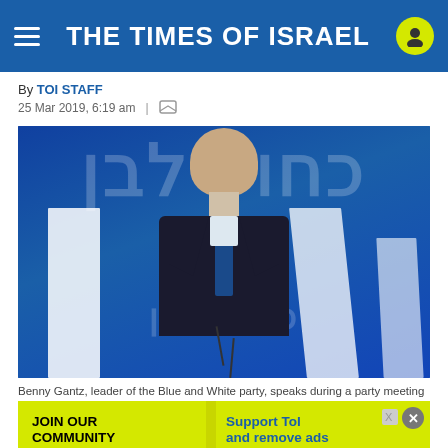THE TIMES OF ISRAEL
By TOI STAFF
25 Mar 2019, 6:19 am  |
[Figure (photo): Benny Gantz, leader of the Blue and White party, stands at a podium in front of blue party banners with Hebrew text, wearing a dark suit and blue tie, with a serious expression.]
Benny Gantz, leader of the Blue and White party, speaks during a party meeting